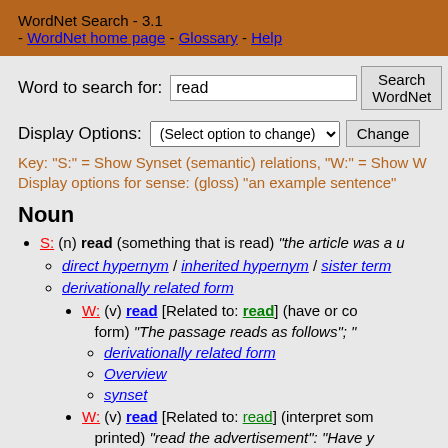WordNet Search - 3.1 - WordNet home page - Glossary - Help
Word to search for: read [Search WordNet button]
Display Options: (Select option to change) [Change button]
Key: "S:" = Show Synset (semantic) relations, "W:" = Show W... Display options for sense: (gloss) "an example sentence"
Noun
S: (n) read (something that is read) "the article was a u..."
direct hypernym / inherited hypernym / sister term...
derivationally related form
W: (v) read [Related to: read] (have or co... form) "The passage reads as follows"; "..."
derivationally related form
Overview
synset
W: (v) read [Related to: read] (interpret som... printed) "read the advertisement": "Have you..."